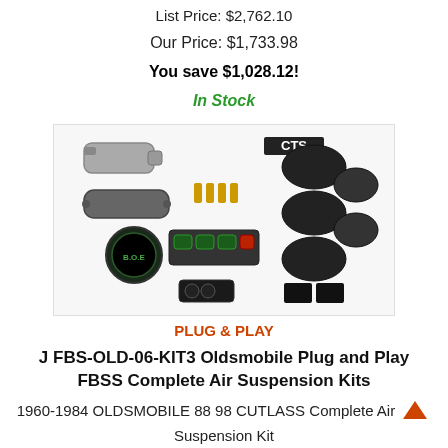List Price: $2,762.10
Our Price: $1,733.98
You save $1,028.12!
In Stock
[Figure (photo): Air suspension kit product image showing compressor, air bags, valves, manifold, and hardware components with CTS logo and PLUG & PLAY label]
J FBS-OLD-06-KIT3 Oldsmobile Plug and Play FBSS Complete Air Suspension Kits
1960-1984 OLDSMOBILE 88 98 CUTLASS Complete Air Suspension Kit
List Price: $2,762.10